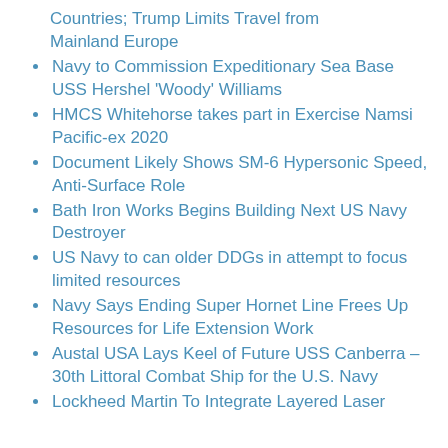Countries; Trump Limits Travel from Mainland Europe
Navy to Commission Expeditionary Sea Base USS Hershel 'Woody' Williams
HMCS Whitehorse takes part in Exercise Namsi Pacific-ex 2020
Document Likely Shows SM-6 Hypersonic Speed, Anti-Surface Role
Bath Iron Works Begins Building Next US Navy Destroyer
US Navy to can older DDGs in attempt to focus limited resources
Navy Says Ending Super Hornet Line Frees Up Resources for Life Extension Work
Austal USA Lays Keel of Future USS Canberra – 30th Littoral Combat Ship for the U.S. Navy
Lockheed Martin To Integrate Layered Laser